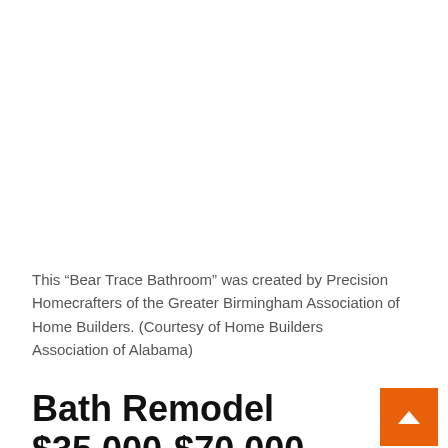This “Bear Trace Bathroom” was created by Precision Homecrafters of the Greater Birmingham Association of Home Builders. (Courtesy of Home Builders Association of Alabama)
Bath Remodel $35,000-$70,000